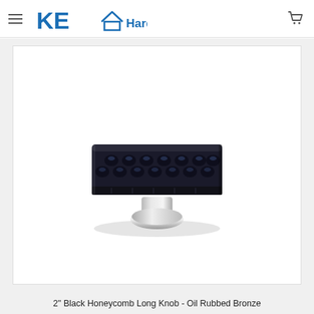KE Hardware
[Figure (photo): A black honeycomb-textured rectangular cabinet knob with a polished chrome base/stem, photographed on white background. The knob has a wide flat top surface with a dimpled honeycomb pattern and a round cylindrical base post.]
2" Black Honeycomb Long Knob - Oil Rubbed Bronze